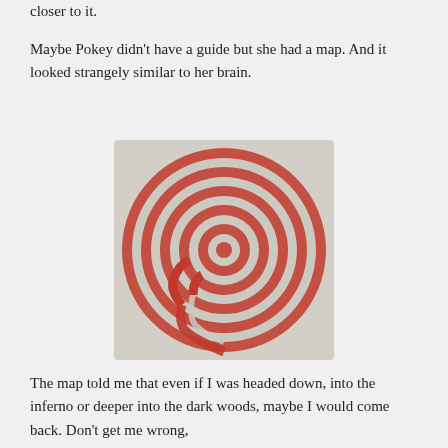closer to it.
Maybe Pokey didn't have a guide but she had a map. And it looked strangely similar to her brain.
[Figure (illustration): A red labyrinth/maze drawing on a light speckled background. The labyrinth is circular with spiraling concentric paths in red, resembling a classical 7-circuit labyrinth.]
The map told me that even if I was headed down, into the inferno or deeper into the dark woods, maybe I would come back. Don't get me wrong,